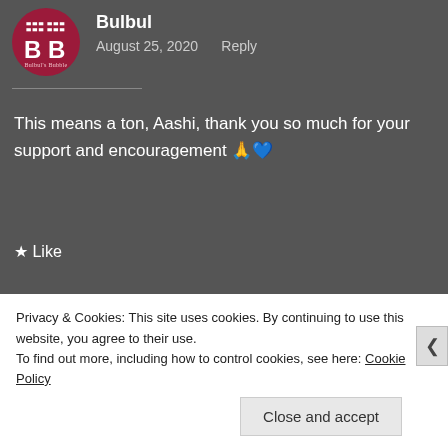[Figure (logo): Circular dark red avatar with bold BB letters and small text 'Bulbul's Bubble' below]
Bulbul
August 25, 2020    Reply
This means a ton, Aashi, thank you so much for your support and encouragement 🙏💙
★ Like
[Figure (photo): Square photo of a red flower (poinsettia) with green leaves]
Aashi D Parekh
Privacy & Cookies: This site uses cookies. By continuing to use this website, you agree to their use.
To find out more, including how to control cookies, see here: Cookie Policy
Close and accept